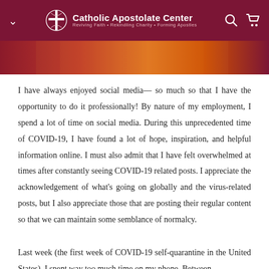Catholic Apostolate Center — Reviving Faith • Rekindling Charity • Forming Apostles
[Figure (photo): Decorative image strip with warm orange and red tones, partially visible at top of page]
I have always enjoyed social media— so much so that I have the opportunity to do it professionally! By nature of my employment, I spend a lot of time on social media. During this unprecedented time of COVID-19, I have found a lot of hope, inspiration, and helpful information online. I must also admit that I have felt overwhelmed at times after constantly seeing COVID-19 related posts. I appreciate the acknowledgement of what's going on globally and the virus-related posts, but I also appreciate those that are posting their regular content so that we can maintain some semblance of normalcy.
Last week (the first week of COVID-19 self-quarantine in the United States), I spent way too much time on my phone. Between